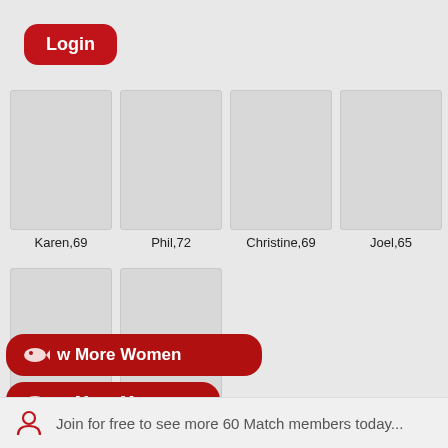[Figure (screenshot): Login button - red rounded rectangle with white bold Login text]
[Figure (screenshot): Profile photo placeholder for Karen,69]
Karen,69
[Figure (screenshot): Profile photo placeholder for Phil,72]
Phil,72
[Figure (screenshot): Profile photo placeholder for Christine,69]
Christine,69
[Figure (screenshot): Profile photo placeholder for Joel,65]
Joel,65
[Figure (screenshot): Profile photo placeholder for Genie,68]
Genie,68
[Figure (screenshot): Profile photo placeholder for Trish,71]
Trish,71
[Figure (screenshot): Red rounded button with fish icon and text: Show More Women]
[Figure (screenshot): Red rounded button with fish icon and text: Show More Men]
Join for free to see more 60 Match members today...